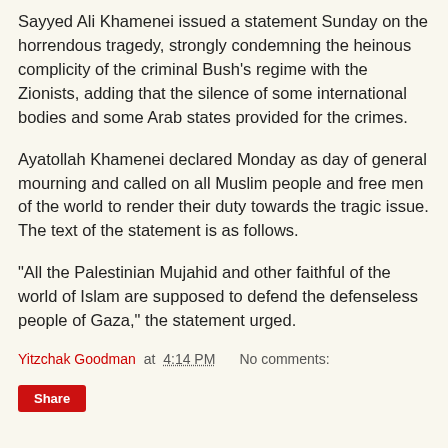Sayyed Ali Khamenei issued a statement Sunday on the horrendous tragedy, strongly condemning the heinous complicity of the criminal Bush's regime with the Zionists, adding that the silence of some international bodies and some Arab states provided for the crimes.
Ayatollah Khamenei declared Monday as day of general mourning and called on all Muslim people and free men of the world to render their duty towards the tragic issue. The text of the statement is as follows.
"All the Palestinian Mujahid and other faithful of the world of Islam are supposed to defend the defenseless people of Gaza," the statement urged.
Yitzchak Goodman at 4:14 PM    No comments: